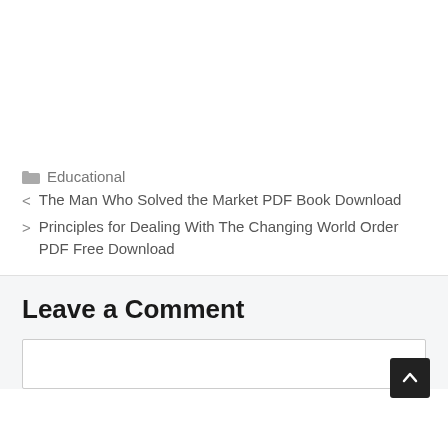Educational
< The Man Who Solved the Market PDF Book Download
> Principles for Dealing With The Changing World Order PDF Free Download
Leave a Comment